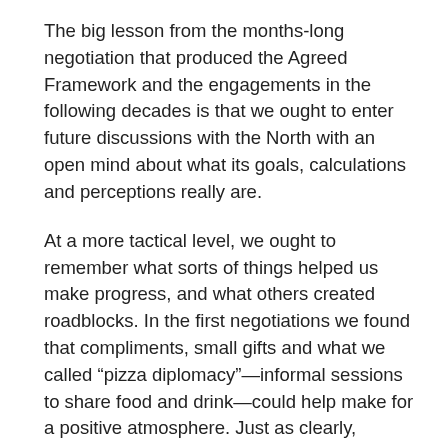The big lesson from the months-long negotiation that produced the Agreed Framework and the engagements in the following decades is that we ought to enter future discussions with the North with an open mind about what its goals, calculations and perceptions really are.
At a more tactical level, we ought to remember what sorts of things helped us make progress, and what others created roadblocks. In the first negotiations we found that compliments, small gifts and what we called “pizza diplomacy”—informal sessions to share food and drink—could help make for a positive atmosphere. Just as clearly, gratuitous insults would be taken badly and not forgotten. When Kim Il Sung died in 1994, it was important for the US delegation head to go to the DPRK mission in Geneva to express condolences to the Korean people, even if the move brought criticism from some in Congress who suggested that we had forgotten that Kim